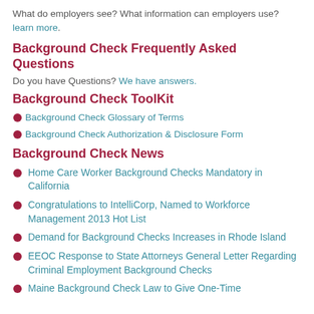What do employers see? What information can employers use? learn more.
Background Check Frequently Asked Questions
Do you have Questions? We have answers.
Background Check ToolKit
Background Check Glossary of Terms
Background Check Authorization & Disclosure Form
Background Check News
Home Care Worker Background Checks Mandatory in California
Congratulations to IntelliCorp, Named to Workforce Management 2013 Hot List
Demand for Background Checks Increases in Rhode Island
EEOC Response to State Attorneys General Letter Regarding Criminal Employment Background Checks
Maine Background Check Law to Give One-Time